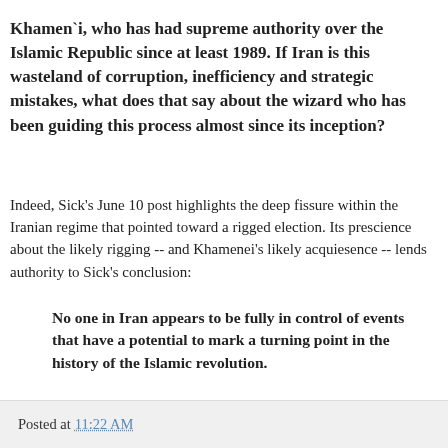Khamenei, who has had supreme authority over the Islamic Republic since at least 1989. If Iran is this wasteland of corruption, inefficiency and strategic mistakes, what does that say about the wizard who has been guiding this process almost since its inception?
Indeed, Sick's June 10 post highlights the deep fissure within the Iranian regime that pointed toward a rigged election. Its prescience about the likely rigging -- and Khamenei's likely acquiesence -- lends authority to Sick's conclusion:
No one in Iran appears to be fully in control of events that have a potential to mark a turning point in the history of the Islamic revolution.
Of course, the unlikelihood that the status quo in Iran can be restored does not rule out the possibility that the crisis will produce a more repressive regime.
Posted at 11:22 AM